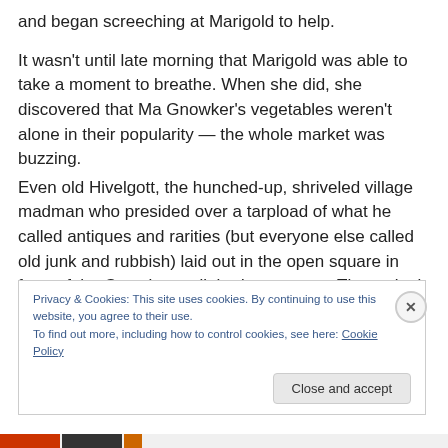and began screeching at Marigold to help.
It wasn't until late morning that Marigold was able to take a moment to breathe. When she did, she discovered that Ma Gnowker's vegetables weren't alone in their popularity — the whole market was buzzing.
Even old Hivelgott, the hunched-up, shriveled village madman who presided over a tarpload of what he called antiques and rarities (but everyone else called old junk and rubbish) laid out in the open square in front of the Gnowker stall, had customers. Three sleek city folk were
Privacy & Cookies: This site uses cookies. By continuing to use this website, you agree to their use.
To find out more, including how to control cookies, see here: Cookie Policy
Close and accept